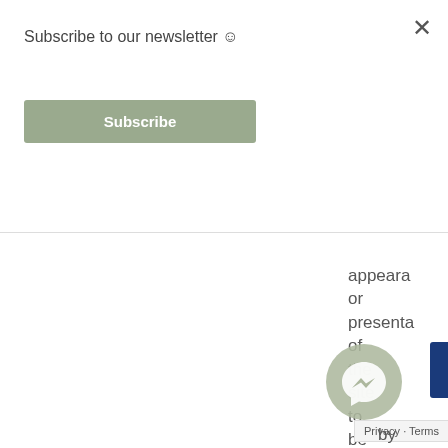Subscribe to our newsletter ☺
Subscribe
appeara or presenta of the site to be differen from what ould by
[Figure (other): Facebook Messenger chat bubble icon with sage green circular background]
Privacy · Terms